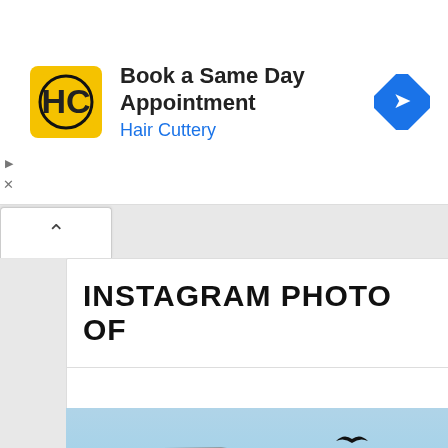[Figure (screenshot): Advertisement banner for Hair Cuttery: yellow logo with HC letters, text 'Book a Same Day Appointment' and 'Hair Cuttery' in blue, blue diamond arrow icon on right. Ad controls (play and close icons) on left edge.]
^ (collapse button)
INSTAGRAM PHOTO OF
[Figure (photo): Photograph looking up at the corner of a tiled building (mosque or similar Islamic architecture with blue/turquoise mosaic tile decoration) against a blue sky, with several birds (pigeons/doves) flying in the upper right area.]